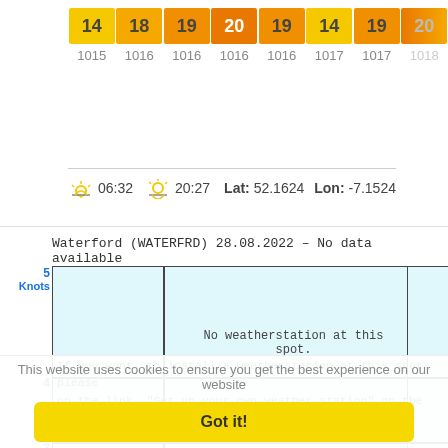[Figure (other): Wind speed row showing colored boxes with values 14, 18, 19, 20, 19, 14, 19, 20 knots, and pressure row showing 1015, 1016, 1016, 1016, 1016, 1017, 1017, 1018]
06:32  20:27  Lat: 52.1624  Lon: -7.1524
Waterford (WATERFRD) 28.08.2022 - No data available
[Figure (other): Wind chart with y-axis labels 1-5 Knots, light blue background, vertical gridlines, and message: No weatherstation at this spot. If you want to install a weatherstation at this spot please click on the link 'Set up your own weather station' on the left. If you already have a weather station please provide us your data. In return we offer you a free ad banner on Windfinder.com!]
This website uses cookies to ensure you get the best experience on our website
Got it!